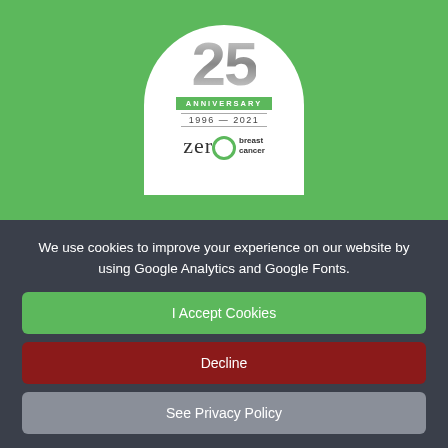[Figure (logo): Zero Breast Cancer 25th Anniversary logo (1996-2021) on green background. White arch-shaped badge with large metallic '25', green 'ANNIVERSARY' banner, '1996-2021' text, and 'zero breast cancer' wordmark with circular O in green.]
We use cookies to improve your experience on our website by using Google Analytics and Google Fonts.
I Accept Cookies
Decline
See Privacy Policy